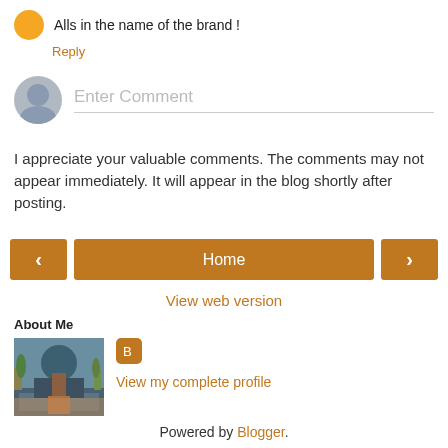Alls in the name of the brand !
Reply
[Figure (other): Gray avatar/profile placeholder icon with comment input field showing placeholder text 'Enter Comment']
I appreciate your valuable comments. The comments may not appear immediately. It will appear in the blog shortly after posting.
[Figure (other): Navigation bar with left arrow button, Home button in orange, right arrow button in orange]
View web version
About Me
[Figure (photo): Profile photo showing a person standing on a poolside deck near the sea with palm trees]
View my complete profile
Powered by Blogger.